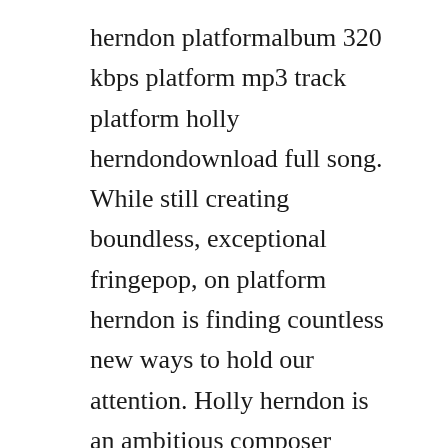herndon platformalbum 320 kbps platform mp3 track platform holly herndondownload full song. While still creating boundless, exceptional fringepop, on platform herndon is finding countless new ways to hold our attention. Holly herndon is an ambitious composer whose work is based on samples and her distinctive voice. In its least engaging moments, platform feels more like a homework assignment.
Holly herndon 2012s movement was one of the surprises of the year and increased